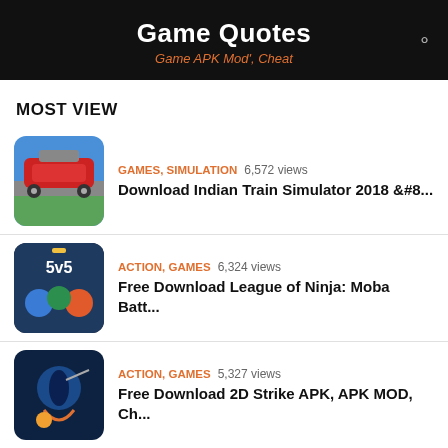Game Quotes
Game APK Mod', Cheat
MOST VIEW
[Figure (screenshot): Indian Train Simulator 2018 game thumbnail showing a red train]
GAMES, SIMULATION   6,572 views
Download Indian Train Simulator 2018 &#8...
[Figure (screenshot): League of Ninja: Moba Battle 5v5 game thumbnail]
ACTION, GAMES   6,324 views
Free Download League of Ninja: Moba Batt...
[Figure (screenshot): 2D Strike APK game thumbnail showing ninja character]
ACTION, GAMES   5,327 views
Free Download 2D Strike APK, APK MOD, Ch...
[Figure (screenshot): Little Krishna APK game thumbnail showing cartoon characters]
ARCADE, GAMES   4,545 views
Free Download Little Krishna APK, APK MO...